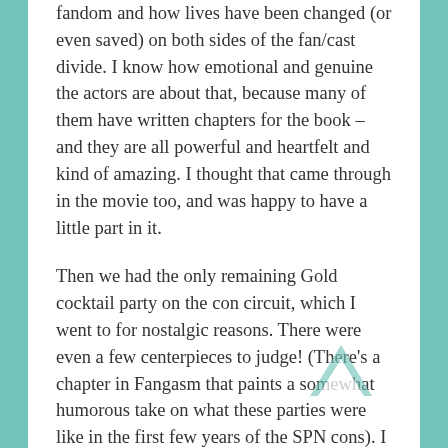fandom and how lives have been changed (or even saved) on both sides of the fan/cast divide. I know how emotional and genuine the actors are about that, because many of them have written chapters for the book – and they are all powerful and heartfelt and kind of amazing. I thought that came through in the movie too, and was happy to have a little part in it.
Then we had the only remaining Gold cocktail party on the con circuit, which I went to for nostalgic reasons. There were even a few centerpieces to judge! (There's a chapter in Fangasm that paints a somewhat humorous take on what these parties were like in the first few years of the SPN cons). I caught up with some fangirl friends and had a lovely chat with Brock Kelly, who was fascinated with the fact